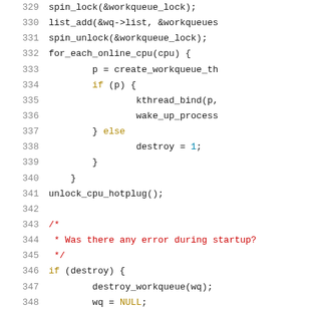[Figure (screenshot): Source code listing lines 329-350, C kernel code for workqueue creation with syntax highlighting. Line numbers in grey, keywords in gold, comments in red, numeric literals in blue.]